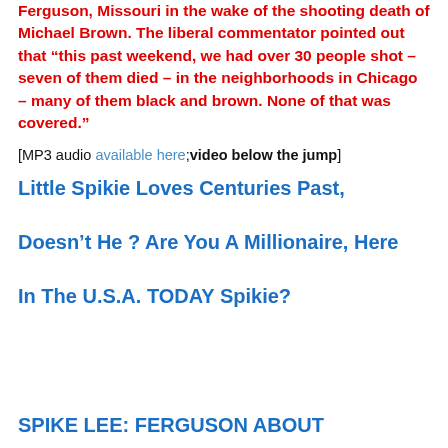Ferguson, Missouri in the wake of the shooting death of Michael Brown. The liberal commentator pointed out that “this past weekend, we had over 30 people shot – seven of them died – in the neighborhoods in Chicago – many of them black and brown. None of that was covered.”
[MP3 audio available here;video below the jump]
Little Spikie Loves Centuries Past, Doesn’t He ? Are You A Millionaire, Here In The U.S.A. TODAY Spikie?
SPIKE LEE: FERGUSON ABOUT